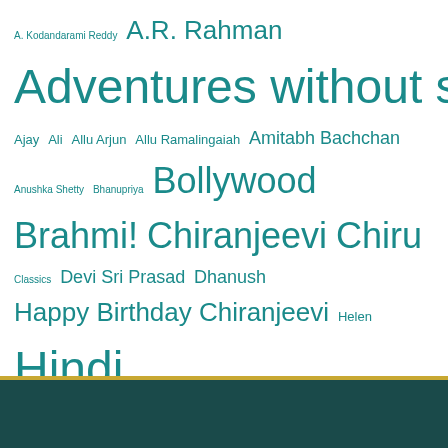[Figure (infographic): Tag cloud featuring names and terms related to Indian cinema (Bollywood, Telugu, Tamil, Malayalam, Kollywood industries) and associated actors, directors, and composers. Words displayed in varying font sizes reflecting frequency/importance, all in teal color on white background.]